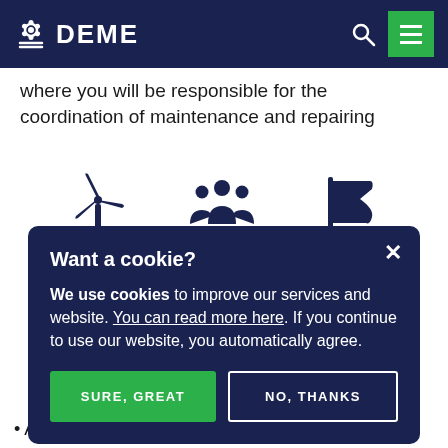DEME
where you will be responsible for the coordination of maintenance and repairing
[Figure (illustration): Three icons: a wind turbine, a group of people, and a flag — all in dark navy blue]
Want a cookie?
We use cookies to improve our services and website. You can read more here. If you continue to use our website, you automatically agree.
SURE, GREAT   NO, THANKS
As a Tender Engineer, you will take part in